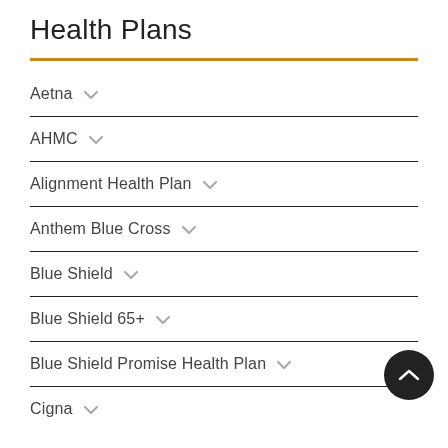Health Plans
Aetna
AHMC
Alignment Health Plan
Anthem Blue Cross
Blue Shield
Blue Shield 65+
Blue Shield Promise Health Plan
Cigna